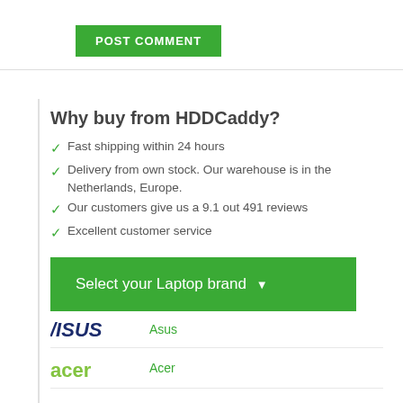[Figure (other): Green POST COMMENT button]
Why buy from HDDCaddy?
Fast shipping within 24 hours
Delivery from own stock. Our warehouse is in the Netherlands, Europe.
Our customers give us a 9.1 out 491 reviews
Excellent customer service
[Figure (other): Green Select your Laptop brand dropdown button]
[Figure (logo): ASUS logo]
Asus
[Figure (logo): acer logo]
Acer